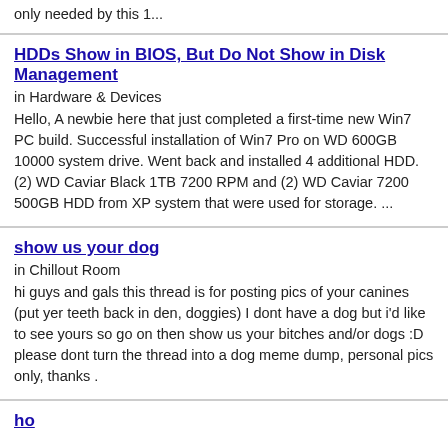only needed by this 1...
HDDs Show in BIOS, But Do Not Show in Disk Management
in Hardware & Devices
Hello, A newbie here that just completed a first-time new Win7 PC build. Successful installation of Win7 Pro on WD 600GB 10000 system drive. Went back and installed 4 additional HDD. (2) WD Caviar Black 1TB 7200 RPM and (2) WD Caviar 7200 500GB HDD from XP system that were used for storage. ...
show us your dog
in Chillout Room
hi guys and gals this thread is for posting pics of your canines (put yer teeth back in den, doggies) I dont have a dog but i'd like to see yours so go on then show us your bitches and/or dogs :D please dont turn the thread into a dog meme dump, personal pics only, thanks .